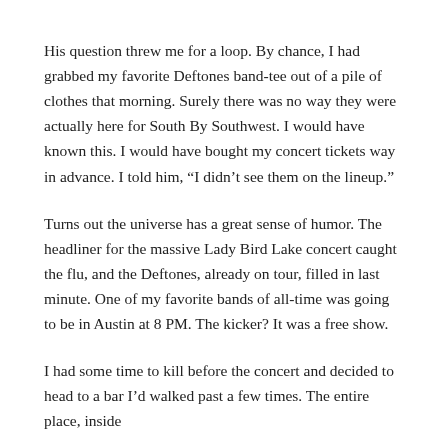His question threw me for a loop. By chance, I had grabbed my favorite Deftones band-tee out of a pile of clothes that morning. Surely there was no way they were actually here for South By Southwest. I would have known this. I would have bought my concert tickets way in advance. I told him, “I didn’t see them on the lineup.”
Turns out the universe has a great sense of humor. The headliner for the massive Lady Bird Lake concert caught the flu, and the Deftones, already on tour, filled in last minute. One of my favorite bands of all-time was going to be in Austin at 8 PM. The kicker? It was a free show.
I had some time to kill before the concert and decided to head to a bar I’d walked past a few times. The entire place, inside and out, was something of a fair inside. All of the seating is